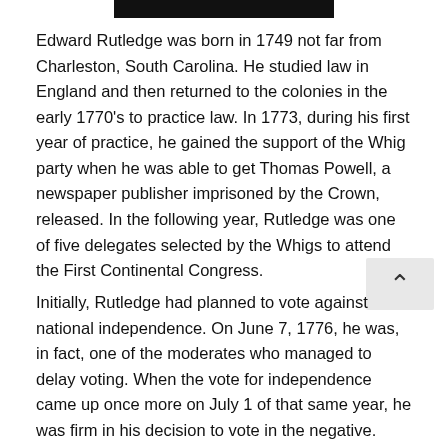[Figure (photo): Partial black and white photo strip at top of page showing cropped image]
Edward Rutledge was born in 1749 not far from Charleston, South Carolina. He studied law in England and then returned to the colonies in the early 1770's to practice law. In 1773, during his first year of practice, he gained the support of the Whig party when he was able to get Thomas Powell, a newspaper publisher imprisoned by the Crown, released. In the following year, Rutledge was one of five delegates selected by the Whigs to attend the First Continental Congress.
Initially, Rutledge had planned to vote against national independence. On June 7, 1776, he was, in fact, one of the moderates who managed to delay voting. When the vote for independence came up once more on July 1 of that same year, he was firm in his decision to vote in the negative. Once nine of the other colonies came out in support of independence, however, Rutledge realized that this resolution would pass nevertheless. He suggested that another vote be held the very next day, and utilized the extra time to convince the other South Carolina delegates to support independence in order to give the final decision a sense of unanimity.